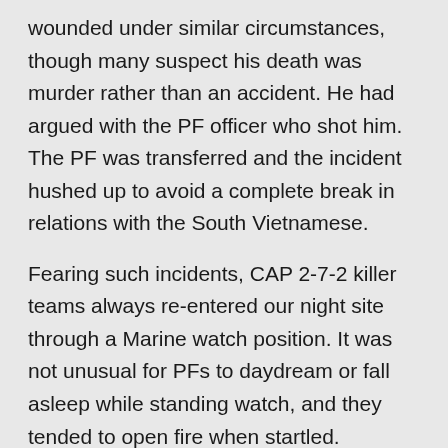wounded under similar circumstances, though many suspect his death was murder rather than an accident. He had argued with the PF officer who shot him. The PF was transferred and the incident hushed up to avoid a complete break in relations with the South Vietnamese.
Fearing such incidents, CAP 2-7-2 killer teams always re-entered our night site through a Marine watch position. It was not unusual for PFs to daydream or fall asleep while standing watch, and they tended to open fire when startled.